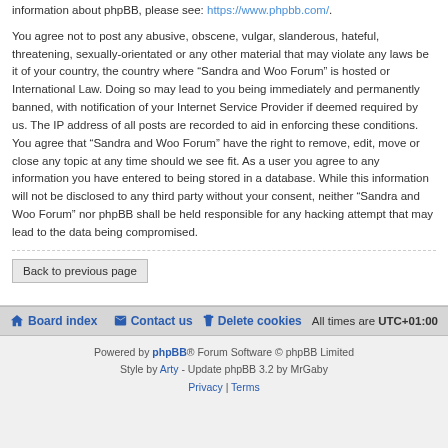information about phpBB, please see: https://www.phpbb.com/.
You agree not to post any abusive, obscene, vulgar, slanderous, hateful, threatening, sexually-orientated or any other material that may violate any laws be it of your country, the country where “Sandra and Woo Forum” is hosted or International Law. Doing so may lead to you being immediately and permanently banned, with notification of your Internet Service Provider if deemed required by us. The IP address of all posts are recorded to aid in enforcing these conditions. You agree that “Sandra and Woo Forum” have the right to remove, edit, move or close any topic at any time should we see fit. As a user you agree to any information you have entered to being stored in a database. While this information will not be disclosed to any third party without your consent, neither “Sandra and Woo Forum” nor phpBB shall be held responsible for any hacking attempt that may lead to the data being compromised.
Back to previous page
Board index | Contact us | Delete cookies | All times are UTC+01:00
Powered by phpBB® Forum Software © phpBB Limited | Style by Arty - Update phpBB 3.2 by MrGaby | Privacy | Terms